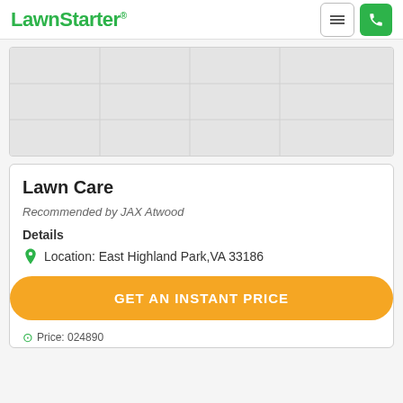LawnStarter
[Figure (screenshot): Map placeholder area showing a partially visible map]
Lawn Care
Recommended by JAX Atwood
Details
Location: East Highland Park,VA 33186
GET AN INSTANT PRICE
Price: 024890